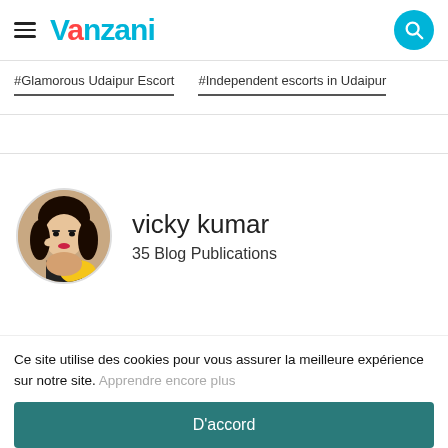Vanzani — hamburger menu and search icon header
#Glamorous Udaipur Escort
#Independent escorts in Udaipur
[Figure (photo): Circular profile photo of a woman in a yellow and black outfit]
vicky kumar
35 Blog Publications
Ce site utilise des cookies pour vous assurer la meilleure expérience sur notre site. Apprendre encore plus
D'accord